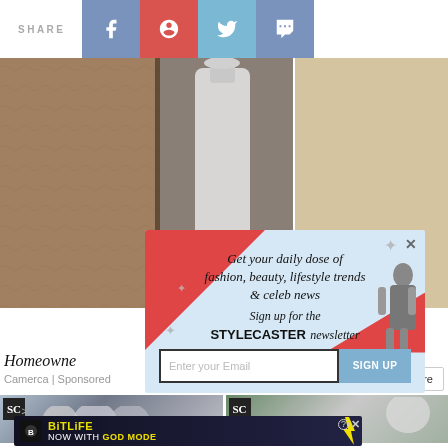SHARE
[Figure (screenshot): Background photo showing a white bottle/container between textured stone walls]
[Figure (screenshot): Newsletter signup modal overlay: 'Get your daily dose of fashion, beauty, lifestyle trends & celeb news. Sign up for the STYLECASTER newsletter' with email input and SIGN UP button]
Homeowner
Camerca | Sponsored
Learn More
[Figure (screenshot): Two thumbnail images with SC (StyleCaster) badge]
-->
[Figure (screenshot): BitLife advertisement banner: NOW WITH GOD MODE]